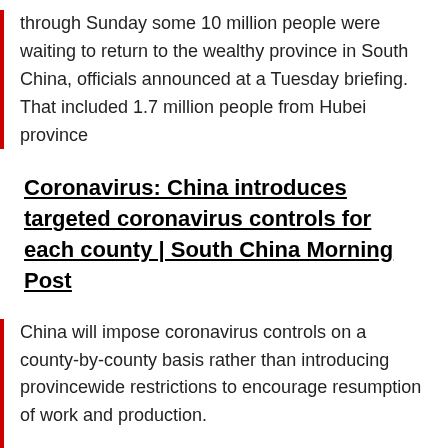through Sunday some 10 million people were waiting to return to the wealthy province in South China, officials announced at a Tuesday briefing. That included 1.7 million people from Hubei province
Coronavirus: China introduces targeted coronavirus controls for each county | South China Morning Post
China will impose coronavirus controls on a county-by-county basis rather than introducing provincewide restrictions to encourage resumption of work and production.
The National Development and Reform Commission said that with the exception of those in Hubei